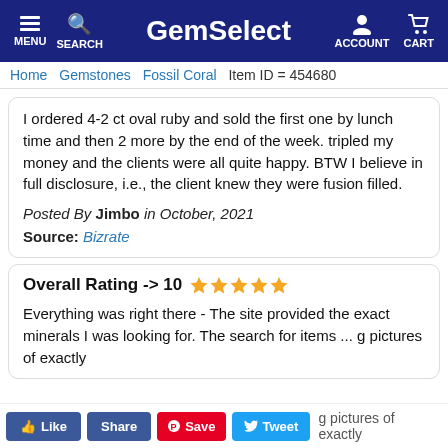GemSelect — MENU | SEARCH | ACCOUNT | CART
Home > Gemstones > Fossil Coral  Item ID = 454680
I ordered 4-2 ct oval ruby and sold the first one by lunch time and then 2 more by the end of the week. tripled my money and the clients were all quite happy. BTW I believe in full disclosure, i.e., the client knew they were fusion filled.
Posted By Jimbo in October, 2021
Source: Bizrate
Overall Rating -> 10 ★★★★★
Everything was right there - The site provided the exact minerals I was looking for. The search for items ... pictures of exactly ... It doesn't get any ...